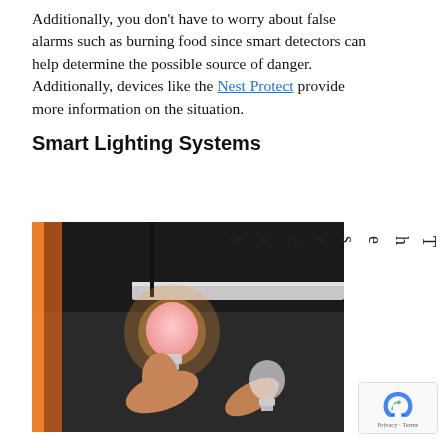Additionally, you don't have to worry about false alarms such as burning food since smart detectors can help determine the possible source of danger. Additionally, devices like the Nest Protect provide more information on the situation.
Smart Lighting Systems
[Figure (photo): Hands holding LED light bulbs near a ceiling fixture, one glowing pink/warm and one clear/unlit, against a dark ceiling background.]
Thursday